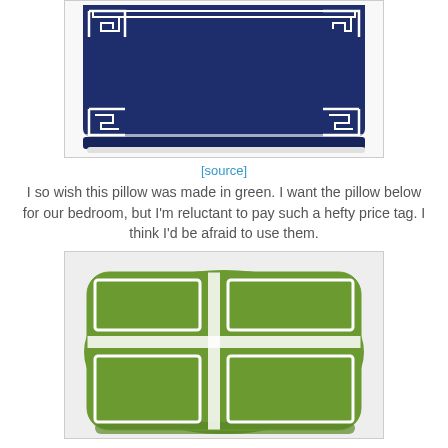[Figure (photo): Navy blue decorative throw pillow with white Greek key border trim at the corners and edges, photographed on white background]
[source]
I so wish this pillow was made in green. I want the pillow below for our bedroom, but I'm reluctant to pay such a hefty price tag. I think I'd be afraid to use them.
[Figure (photo): Green velvet decorative throw pillow with white geometric grid/panel trim pattern, photographed on light background]